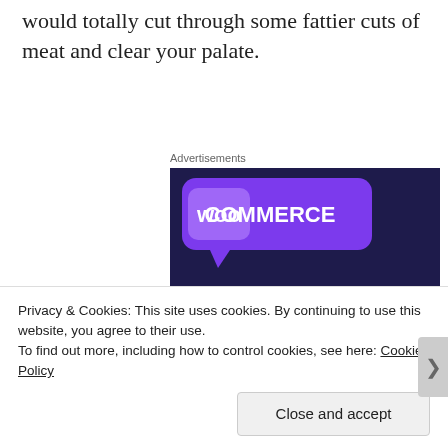would totally cut through some fattier cuts of meat and clear your palate.
[Figure (other): WooCommerce advertisement banner with dark navy background, purple speech bubble logo, green and cyan geometric shapes, text 'Turn your hobby into a business in 8 steps', and a 'Start a new store' button.]
Privacy & Cookies: This site uses cookies. By continuing to use this website, you agree to their use.
To find out more, including how to control cookies, see here: Cookie Policy